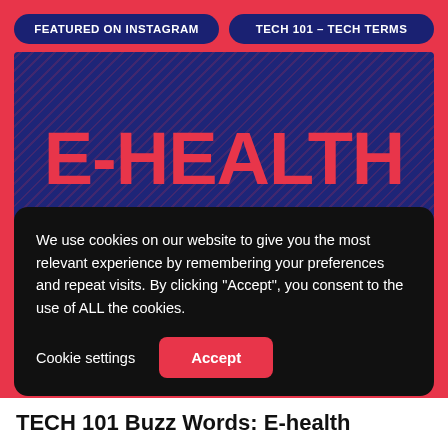FEATURED ON INSTAGRAM | TECH 101 - TECH TERMS
[Figure (infographic): Dark blue card with diagonal line pattern background showing the term E-HEALTH in large red bold text, with white uppercase definition text below: E-HEALTH REFERS TO HEALTH SERVICES AND INFORMATION DELIVERED THROUGH THE INTERNET AND RELATED TECHNOLOGIES.]
We use cookies on our website to give you the most relevant experience by remembering your preferences and repeat visits. By clicking "Accept", you consent to the use of ALL the cookies.
Cookie settings | Accept
TECH 101 Buzz Words: E-health